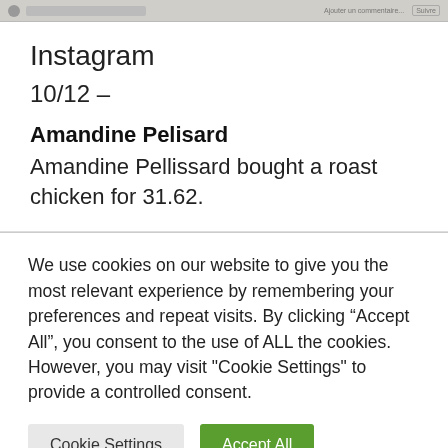[Figure (screenshot): Partial screenshot strip showing a social media post image at the top of the page]
Instagram
10/12 –
Amandine Pelisard
Amandine Pellissard bought a roast chicken for 31.62.
We use cookies on our website to give you the most relevant experience by remembering your preferences and repeat visits. By clicking “Accept All”, you consent to the use of ALL the cookies. However, you may visit "Cookie Settings" to provide a controlled consent.